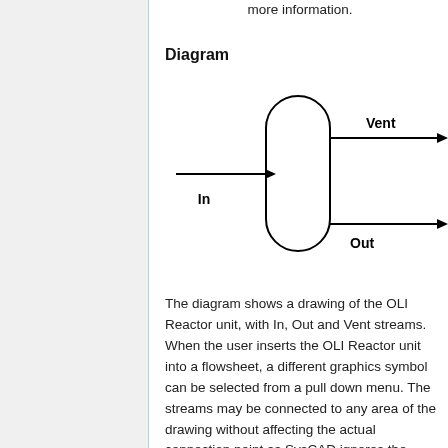more information.
Diagram
[Figure (schematic): Diagram of OLI Reactor unit showing a rounded rectangle vessel with one inlet stream labeled 'In' on the left, one outlet stream labeled 'Vent' on the upper right, and one outlet stream labeled 'Out' on the lower right. Arrows indicate flow directions.]
The diagram shows a drawing of the OLI Reactor unit, with In, Out and Vent streams. When the user inserts the OLI Reactor unit into a flowsheet, a different graphics symbol can be selected from a pull down menu. The streams may be connected to any area of the drawing without affecting the actual connection point as SysCAD ignores the physical